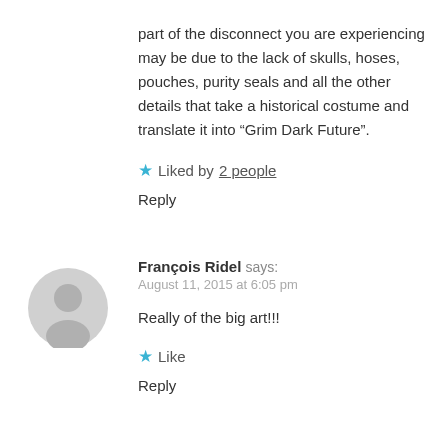part of the disconnect you are experiencing may be due to the lack of skulls, hoses, pouches, purity seals and all the other details that take a historical costume and translate it into “Grim Dark Future”.
★ Liked by 2 people
Reply
François Ridel says:
August 11, 2015 at 6:05 pm
Really of the big art!!!
★ Like
Reply